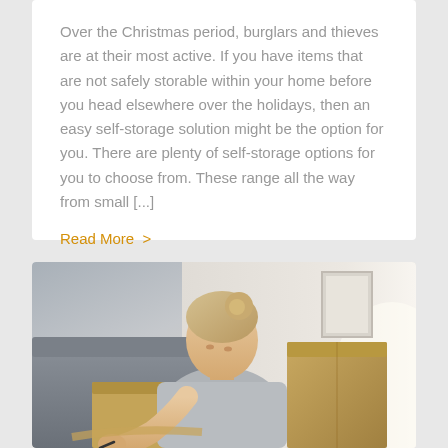Over the Christmas period, burglars and thieves are at their most active. If you have items that are not safely storable within your home before you head elsewhere over the holidays, then an easy self-storage solution might be the option for you. There are plenty of self-storage options for you to choose from. These range all the way from small [...]
Read More >
[Figure (photo): A blonde woman with her hair up in a bun, wearing a grey t-shirt, leaning forward and writing or signing something. Behind her are cardboard moving boxes and what appears to be a grey sofa and a light-coloured wall with a framed picture.]